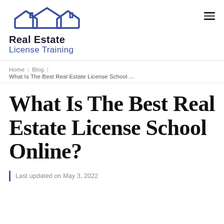[Figure (logo): Real Estate License Training logo with house roofline icon in blue, company name in black bold and blue text]
Home | Blog | What Is The Best Real Estate License School ...
What Is The Best Real Estate License School Online?
Last updated on May 3, 2022